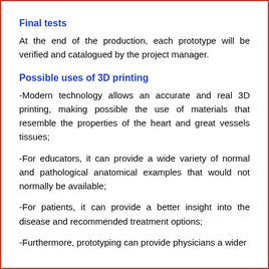Final tests
At the end of the production, each prototype will be verified and catalogued by the project manager.
Possible uses of 3D printing
-Modern technology allows an accurate and real 3D printing, making possible the use of materials that resemble the properties of the heart and great vessels tissues;
-For educators, it can provide a wide variety of normal and pathological anatomical examples that would not normally be available;
-For patients, it can provide a better insight into the disease and recommended treatment options;
-Furthermore, prototyping can provide physicians a wider